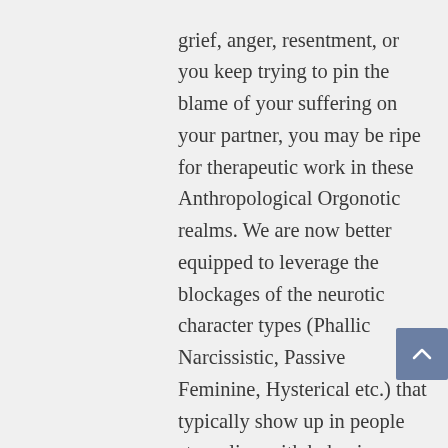grief, anger, resentment, or you keep trying to pin the blame of your suffering on your partner, you may be ripe for therapeutic work in these Anthropological Orgonotic realms. We are now better equipped to leverage the blockages of the neurotic character types (Phallic Narcissistic, Passive Feminine, Hysterical etc.) that typically show up in people struggling with behaviors fuelled by these subconscious conflicts. The sado-mashochistic patterns that are used in attempt to navigate through hobbled feelings rather than from a fully charged orgonotic sexual seat are a smoke screen which gives way to true unbridled creativity, a clean desire function and